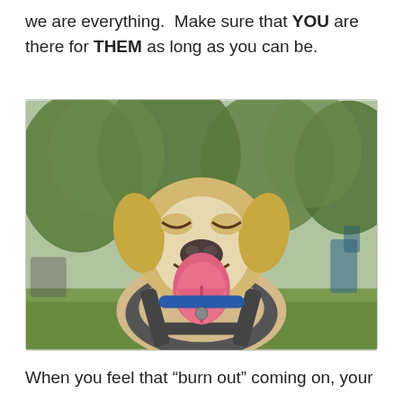we are everything.  Make sure that YOU are there for THEM as long as you can be.
[Figure (photo): A happy yellow Labrador/Beagle mix dog smiling with mouth open and tongue out, wearing a blue collar and dark harness, photographed outdoors in a park with green trees in the background.]
When you feel that “burn out” coming on, your